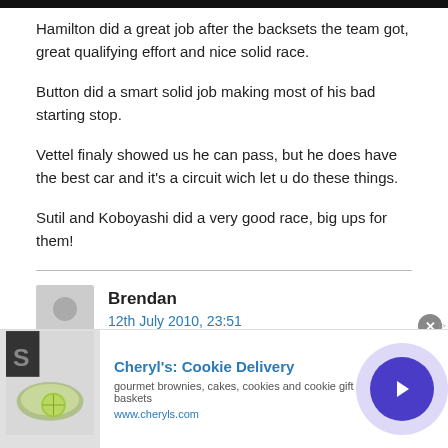Hamilton did a great job after the backsets the team got, great qualifying effort and nice solid race.
Button did a smart solid job making most of his bad starting stop.
Vettel finaly showed us he can pass, but he does have the best car and it's a circuit wich let u do these things.
Sutil and Koboyashi did a very good race, big ups for them!
Brendan
12th July 2010, 23:51
Webber not only shrugged off the internal team issues...
[Figure (other): Advertisement banner for Cheryl's Cookie Delivery showing food image, text 'Cheryl's: Cookie Delivery', 'gourmet brownies, cakes, cookies and cookie gift baskets', 'www.cheryls.com', and a blue arrow button]